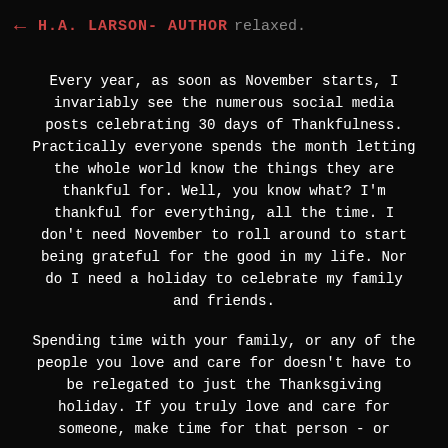← H.A. LARSON - AUTHOR relaxed.
Every year, as soon as November starts, I invariably see the numerous social media posts celebrating 30 days of Thankfulness. Practically everyone spends the month letting the whole world know the things they are thankful for. Well, you know what? I'm thankful for everything, all the time. I don't need November to roll around to start being grateful for the good in my life. Nor do I need a holiday to celebrate my family and friends.
Spending time with your family, or any of the people you love and care for doesn't have to be relegated to just the Thanksgiving holiday. If you truly love and care for someone, make time for that person - or